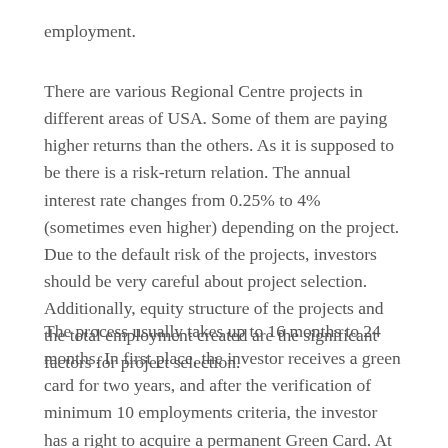employment.
There are various Regional Centre projects in different areas of USA. Some of them are paying higher returns than the others. As it is supposed to be there is a risk-return relation. The annual interest rate changes from 0.25% to 4% (sometimes even higher) depending on the project. Due to the default risk of the projects, investors should be very careful about project selection. Additionally, equity structure of the projects and the total employment created are the significant factors for project selection.
The process usually takes up to 16 months to 24 months. In first place, the investor receives a green card for two years, and after the verification of minimum 10 employments criteria, the investor has a right to acquire a permanent Green Card. At the end of 5-year residency, the investor can apply for US